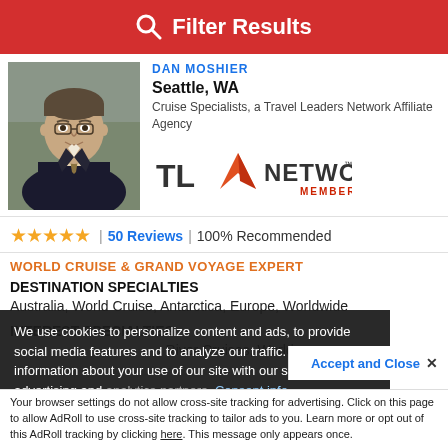Filter Results
[Figure (photo): Professional headshot of a middle-aged man in suit and tie]
Seattle, WA
Cruise Specialists, a Travel Leaders Network Affiliate Agency
[Figure (logo): TL Network Member logo]
★★★★★ | 50 Reviews | 100% Recommended
WORLD CRUISE & GRAND VOYAGE EXPERT
DESTINATION SPECIALTIES
Australia, World Cruise, Antarctica, Europe, Worldwide
INTEREST SPECIALTIES
, River Cruises, World
We use cookies to personalize content and ads, to provide social media features and to analyze our traffic. We also share information about your use of our site with our social media, advertising and analytics partners. Consent info
Accept and Close ✕
Your browser settings do not allow cross-site tracking for advertising. Click on this page to allow AdRoll to use cross-site tracking to tailor ads to you. Learn more or opt out of this AdRoll tracking by clicking here. This message only appears once.